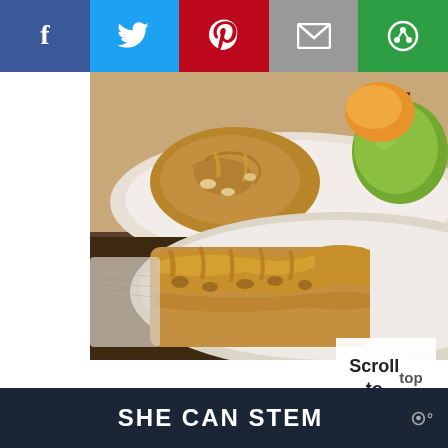[Figure (other): Social share bar with Facebook (blue), Twitter (light blue), Pinterest (red), Email (grey), and another share option (green) buttons with white icons]
[Figure (photo): Food photography showing apple cinnamon rolls with caramel glaze on white plates, with a green apple and other fruit visible in the background on a dark wooden surface]
Scroll to top
SHE CAN STEM